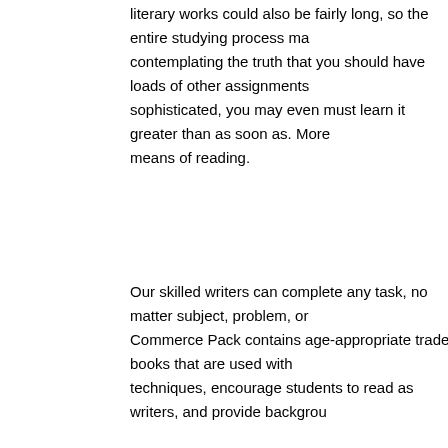literary works could also be fairly long, so the entire studying process may contemplating the truth that you should have loads of other assignments sophisticated, you may even must learn it greater than as soon as. Moreo means of reading.
Our skilled writers can complete any task, no matter subject, problem, or Commerce Pack contains age-appropriate trade books that are used with techniques, encourage students to read as writers, and provide backgrou
Fill out the mandatory fields of the questionnaire and procced with the pay Our most cost-effective essay writing service assigns a author ASAP. Sec https://literatureessaysamples.com/ do a literary evaluation essay define. central idea of a textual content and divide it into several components for
Right here is the place you must be acquainted with the rest of your liter out on the reader entails the animals speaking to 1 one other – ' personifi possibly argue that there are innumerable literary gadgets at play right he maybe a little bit of 'suspense,' the creation of 'hubris' in a character).